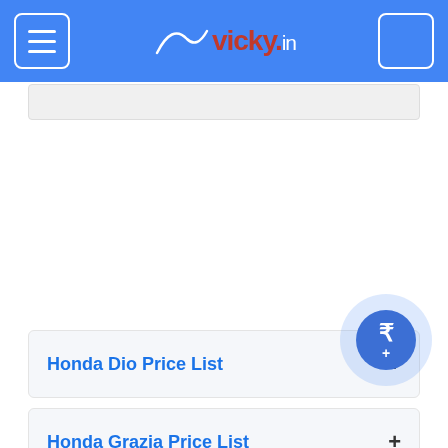vicky.in
Honda Dio Price List
Honda Grazia Price List